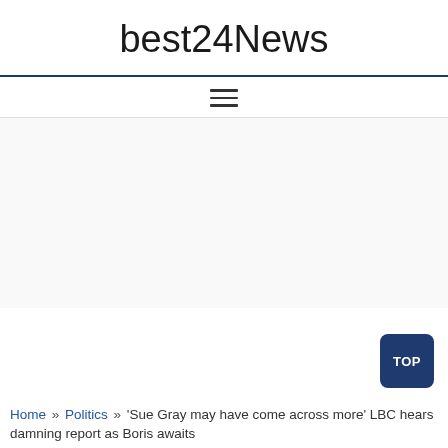best24News
[Figure (other): Hamburger menu icon (three horizontal lines)]
[Figure (other): Advertisement / blank content area]
[Figure (other): TOP button — dark blue rounded square button with 'TOP' label]
Home » Politics » ‘Sue Gray may have come across more’ LBC hears damning report as Boris awaits...